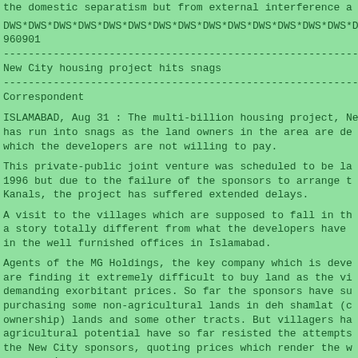the domestic separatism but from external interference a
DWS*DWS*DWS*DWS*DWS*DWS*DWS*DWS*DWS*DWS*DWS*DWS*DWS*DWS*D
960901
------------------------------------------------------------------------
New City housing project hits snags
------------------------------------------------------------------------
Correspondent
ISLAMABAD, Aug 31 : The multi-billion housing project, Ne has run into snags as the land owners in the area are de which the developers are not willing to pay.
This private-public joint venture was scheduled to be la 1996 but due to the failure of the sponsors to arrange t Kanals, the project has suffered extended delays.
A visit to the villages which are supposed to fall in th a story totally different from what the developers have in the well furnished offices in Islamabad.
Agents of the MG Holdings, the key company which is deve are finding it extremely difficult to buy land as the vi demanding exorbitant prices. So far the sponsors have su purchasing some non-agricultural lands in deh shamlat (c ownership) lands and some other tracts. But villagers ha agricultural potential have so far resisted the attempts the New City sponsors, quoting prices which render the w uneconomic.